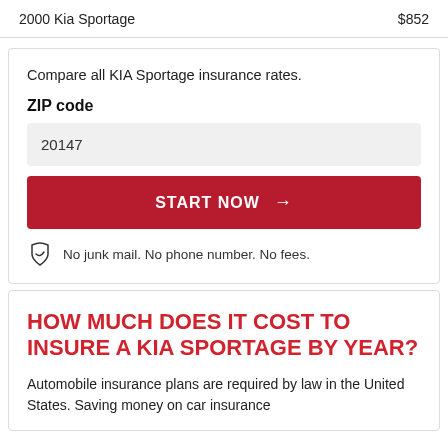| Vehicle | Price |
| --- | --- |
| 2000 Kia Sportage | $852 |
Compare all KIA Sportage insurance rates.
ZIP code
20147
START NOW →
No junk mail. No phone number. No fees.
HOW MUCH DOES IT COST TO INSURE A KIA SPORTAGE BY YEAR?
Automobile insurance plans are required by law in the United States. Saving money on car insurance